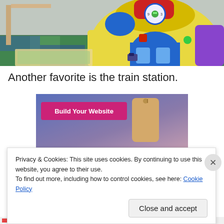[Figure (photo): A colorful children's play area with foam floor tiles and a VTech-style toy learning house with a clock, buttons, and a blue door.]
Another favorite is the train station.
[Figure (photo): A partially visible second photo showing a blue-purple background with a wooden tag-shaped object. A pink 'Build Your Website' button overlays the top-left corner.]
Privacy & Cookies: This site uses cookies. By continuing to use this website, you agree to their use.
To find out more, including how to control cookies, see here: Cookie Policy
Close and accept